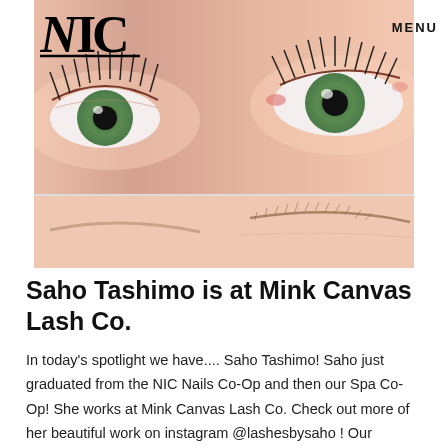[Figure (photo): Close-up photo of a person's eyes showing dramatic eyelash extensions, with two panels — upper panel showing the eye area with long curled lashes, lower panel showing eyebrows from a slightly different angle. NIC logo and MENU text overlay the top of the image.]
NIC   MENU
Saho Tashimo is at Mink Canvas Lash Co.
In today's spotlight we have.... Saho Tashimo! Saho just graduated from the NIC Nails Co-Op and then our Spa Co-Op! She works at Mink Canvas Lash Co. Check out more of her beautiful work on instagram @lashesbysaho ! Our